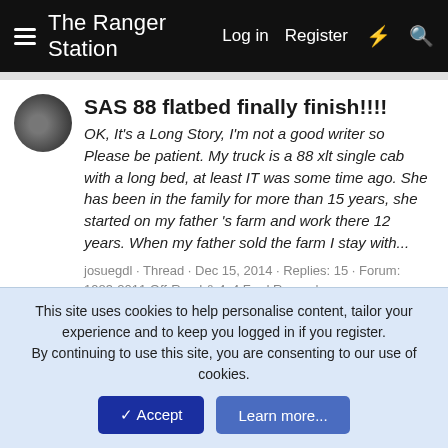The Ranger Station  Log in  Register
SAS 88 flatbed finally finish!!!!
OK, It's a Long Story, I'm not a good writer so Please be patient. My truck is a 88 xlt single cab with a long bed, at least IT was some time ago. She has been in the family for more than 15 years, she started on my father's farm and work there 12 years. When my father sold the farm I stay with...
josuegdl · Thread · Dec 15, 2014 · Replies: 15 · Forum: 1983-2011 Off-Road & 4x4 Ford Ranger's
1988 Ford Ranger
I've had this truck since I was 15. Along the years it's seen some abuse and lots of trails. I've done so much to it and for the last 2 years it's been sitting while I've slowly worked on it. Did a small block 302 swap, SAS currently finishing. Hope everyone likes the post and pictures
Skippy_88Ranger · Thread · Jul 18, 2014 · Replies: 2 · Forum:
This site uses cookies to help personalise content, tailor your experience and to keep you logged in if you register.
By continuing to use this site, you are consenting to our use of cookies.